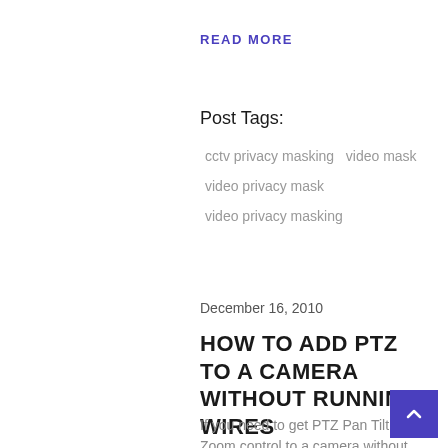READ MORE
Post Tags:
cctv privacy masking   video mask
video privacy mask
video privacy masking
December 16, 2010
HOW TO ADD PTZ TO A CAMERA WITHOUT RUNNING WIRES
If you need to get PTZ Pan Tilt and Zoom control to a camera without any